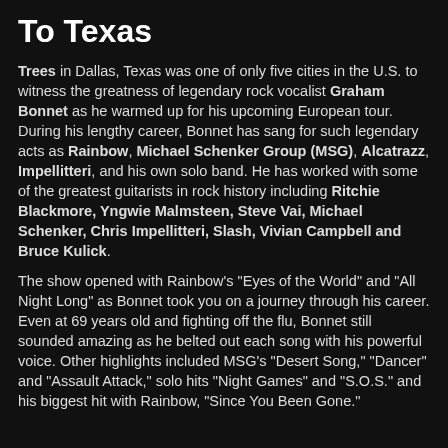To Texas
Trees in Dallas, Texas was one of only five cities in the U.S. to witness the greatness of legendary rock vocalist Graham Bonnet as he warmed up for his upcoming European tour. During his lengthy career, Bonnet has sang for such legendary acts as Rainbow, Michael Schenker Group (MSG), Alcatrazz, Impellitteri, and his own solo band. He has worked with some of the greatest guitarists in rock history including Ritchie Blackmore, Yngwie Malmsteen, Steve Vai, Michael Schenker, Chris Impellitteri, Slash, Vivian Campbell and Bruce Kulick.
The show opened with Rainbow's "Eyes of the World" and "All Night Long" as Bonnet took you on a journey through his career. Even at 69 years old and fighting off the flu, Bonnet still sounded amazing as he belted out each song with his powerful voice. Other highlights included MSG's "Desert Song," "Dancer" and "Assault Attack," solo hits "Night Games" and "S.O.S." and his biggest hit with Rainbow, "Since You Been Gone."